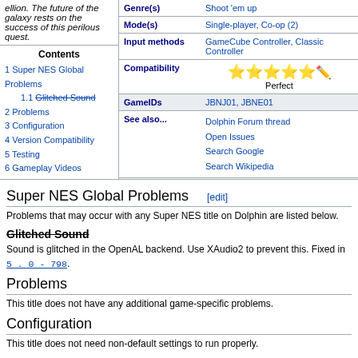ellion. The future of the galaxy rests on the success of this perilous quest.
| Field | Value |
| --- | --- |
| Genre(s) | Shoot 'em up |
| Mode(s) | Single-player, Co-op (2) |
| Input methods | GameCube Controller, Classic Controller |
| Compatibility | Perfect (5 stars) |
| GameIDs | JBNJ01, JBNE01 |
| See also... | Dolphin Forum thread
Open Issues
Search Google
Search Wikipedia |
1 Super NES Global Problems
1.1 Glitched Sound
2 Problems
3 Configuration
4 Version Compatibility
5 Testing
6 Gameplay Videos
Super NES Global Problems [edit]
Problems that may occur with any Super NES title on Dolphin are listed below.
Glitched Sound
Sound is glitched in the OpenAL backend. Use XAudio2 to prevent this. Fixed in 5.0-798.
Problems
This title does not have any additional game-specific problems.
Configuration
This title does not need non-default settings to run properly.